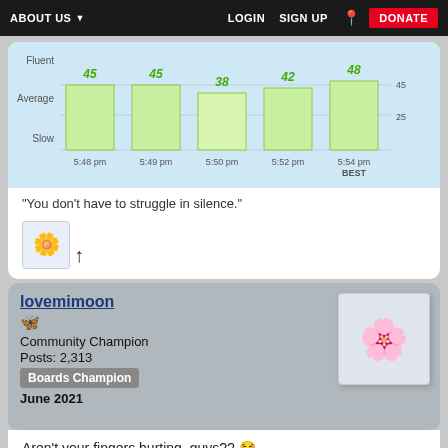ABOUT US  LOGIN  SIGN UP  DONATE
[Figure (bar-chart): Typing speed chart]
"You don't have to struggle in silence."
[Figure (illustration): Small flower illustration thumbnail with upload arrow icon below]
lovemimoon
🦋
Community Champion
Posts: 2,313
Boards Champion
June 2021
[Figure (illustration): Flower illustration avatar for lovemimoon]
Aren't your fingers hurting, guys?? 😂